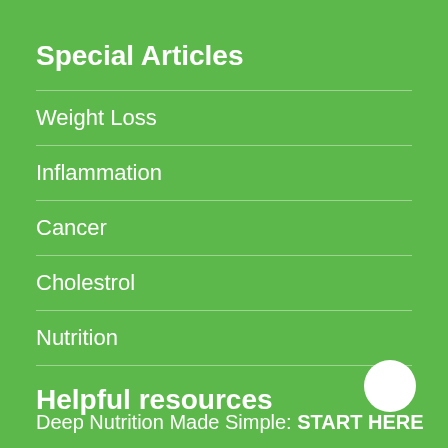Special Articles
Weight Loss
Inflammation
Cancer
Cholestrol
Nutrition
Helpful resources
Deep Nutrition Made Simple: START HERE